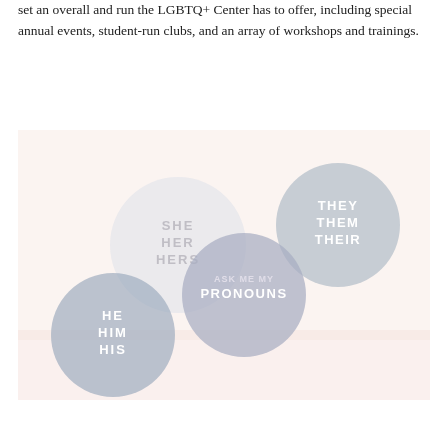set an overall and run the LGBTQ+ Center has to offer, including special annual events, student-run clubs, and an array of workshops and trainings.
[Figure (illustration): Four pronoun buttons/badges on a light pinkish-cream background. Buttons show: SHE HER HERS (light gray circle, upper center), THEY THEM THEIR (medium blue-gray circle, upper right), ASK ME MY PRONOUNS (medium purple-gray circle, center), HE HIM HIS (blue-gray circle, lower left).]